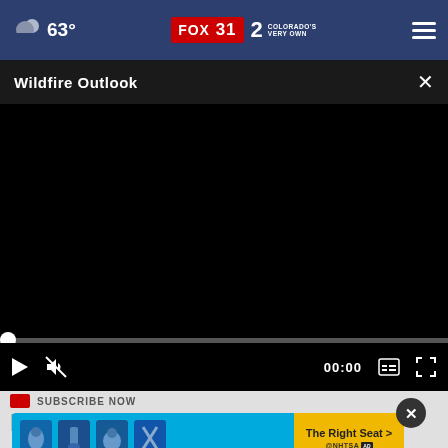63° FOX31 2 COLORADO'S VERY OWN
Wildfire Outlook
[Figure (screenshot): Black video player area showing a video paused at 00:00 with play, mute, timestamp, captions, and fullscreen controls]
SUBSCRIBE NOW
Pinpoint Weather A
[Figure (infographic): NHTSA 'The Right Seat' advertisement banner with blue background, car seat safety icons, and yellow call-to-action button]